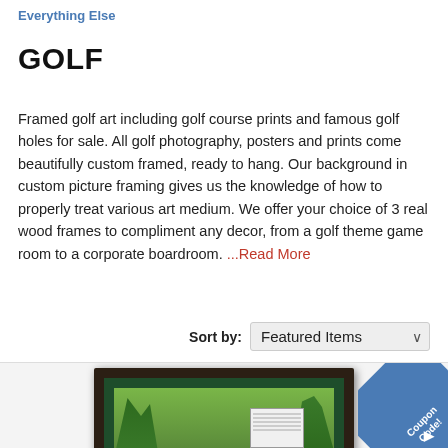Everything Else
GOLF
Framed golf art including golf course prints and famous golf holes for sale. All golf photography, posters and prints come beautifully custom framed, ready to hang. Our background in custom picture framing gives us the knowledge of how to properly treat various art medium. We offer your choice of 3 real wood frames to compliment any decor, from a golf theme game room to a corporate boardroom. ...Read More
Sort by: Featured Items
[Figure (photo): Framed golf course art print showing Augusta-style hole with bridge, water, flowers, and scoreboard, displayed in a dark wood frame with green mat. A 'Coupon Code!' badge appears in the bottom-right corner.]